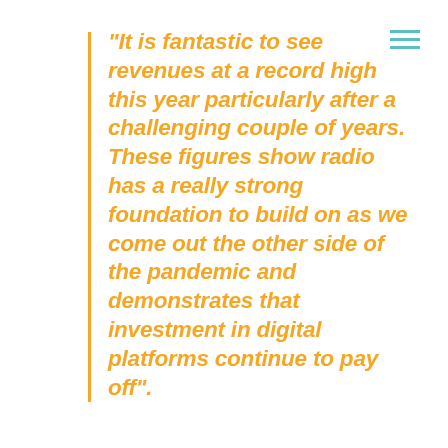"It is fantastic to see revenues at a record high this year particularly after a challenging couple of years. These figures show radio has a really strong foundation to build on as we come out the other side of the pandemic and demonstrates that investment in digital platforms continue to pay off".